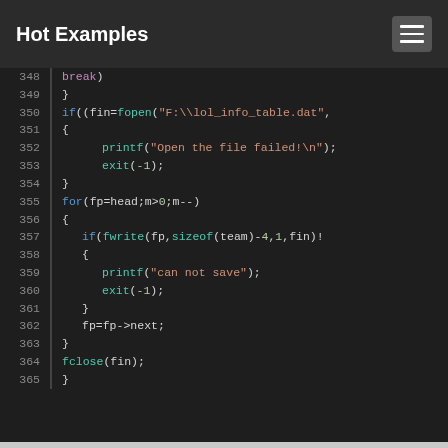Hot Examples
[Figure (screenshot): Code editor screenshot showing C code lines 348-365 with syntax highlighting on dark background]